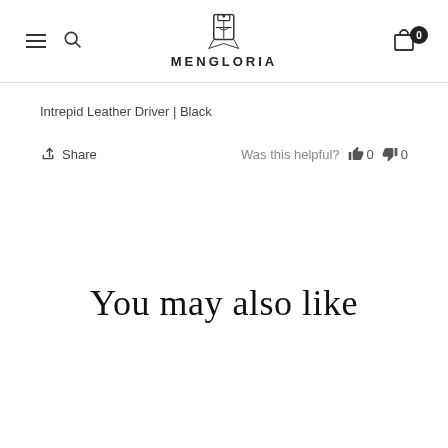MENGLORIA
Intrepid Leather Driver | Black
Share   Was this helpful?  👍 0  👎 0
You may also like